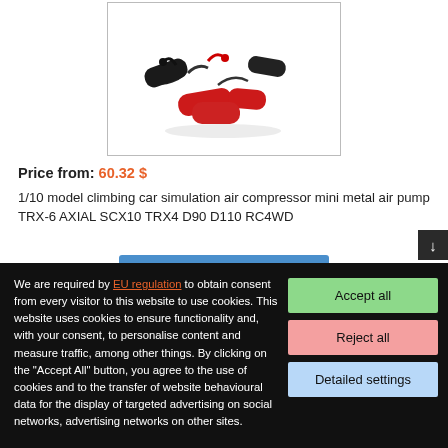[Figure (photo): Product photo of red and black mini metal air compressor units for 1/10 RC model cars, shown on white background]
Price from: 60.32 $
1/10 model climbing car simulation air compressor mini metal air pump TRX-6 AXIAL SCX10 TRX4 D90 D110 RC4WD
We are required by EU regulation to obtain consent from every visitor to this website to use cookies. This website uses cookies to ensure functionality and, with your consent, to personalise content and measure traffic, among other things. By clicking on the "Accept All" button, you agree to the use of cookies and to the transfer of website behavioural data for the display of targeted advertising on social networks, advertising networks on other sites.